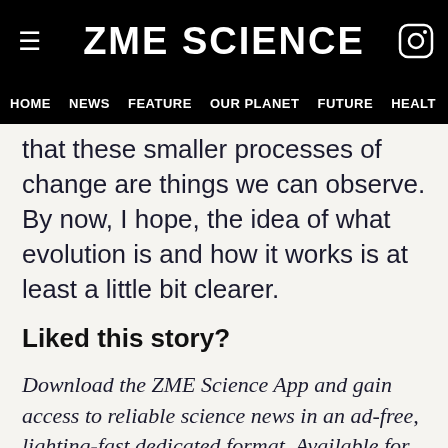ZME SCIENCE
HOME  NEWS  FEATURE  OUR PLANET  FUTURE  HEALT
that these smaller processes of change are things we can observe. By now, I hope, the idea of what evolution is and how it works is at least a little bit clearer.
Liked this story?
Download the ZME Science App and gain access to reliable science news in an ad-free, lighting-fast dedicated format. Available for FREE on the AppStore and Google Play